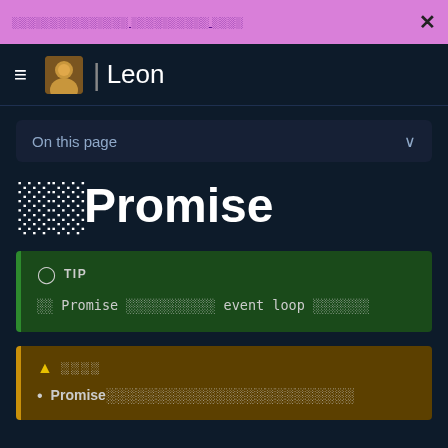░░░░░░░░░░░░░░░ ░░░░░░░░░░ ░░░░  ×
≡  | Leon
On this page  ∨
░░Promise
TIP
░░ Promise ░░░░░░░░░░░░ event loop ░░░░░░░
░░░░
Promise░░░░░░░░░░░░░░░░░░░░░░░░░